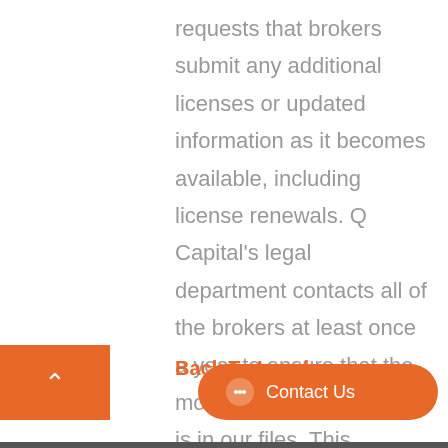requests that brokers submit any additional licenses or updated information as it becomes available, including license renewals.  Q Capital's legal department contacts all of the brokers at least once a year to ensure that the most updated information is in our files.  This process allows the Company to avoid any delays that could come up when closing a case with the broker.
Back To Legal >